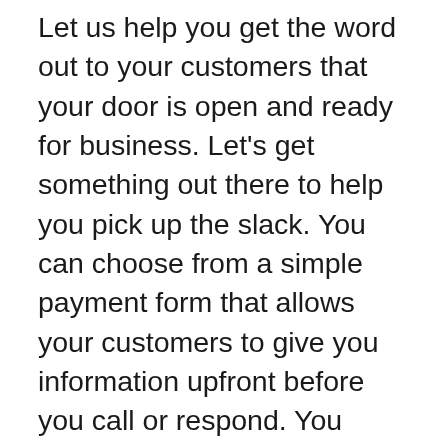Let us help you get the word out to your customers that your door is open and ready for business. Let's get something out there to help you pick up the slack. You can choose from a simple payment form that allows your customers to give you information upfront before you call or respond. You have the option to connect a form to a payment system so you can accept payments securely.
Or you can set up a real store with a few product pages, photos, cart, and checkout system. We'll help you get set up with Stripe which is the easiest online merchant tool with the most flexible options and...